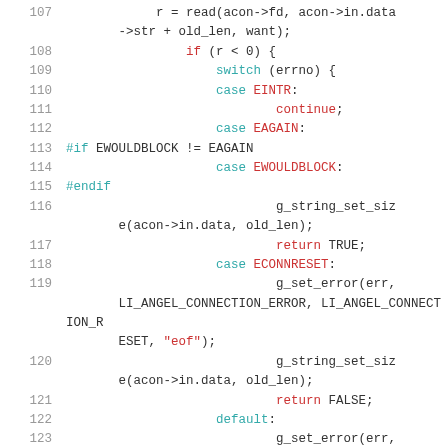[Figure (screenshot): Source code listing showing C code lines 107-123 with syntax highlighting. Line numbers in gray, keywords in teal/red, string literals in red.]